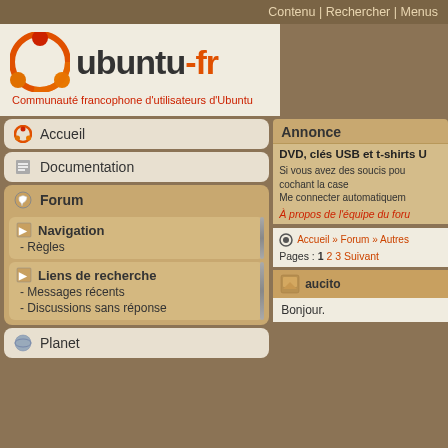Contenu | Rechercher | Menus
[Figure (logo): Ubuntu-fr logo with Ubuntu circle icon and text 'ubuntu-fr', tagline: Communauté francophone d'utilisateurs d'Ubuntu]
Accueil
Documentation
Forum
Navigation - Règles
Liens de recherche - Messages récents - Discussions sans réponse
Planet
Annonce
DVD, clés USB et t-shirts U
Si vous avez des soucis pou cochant la case Me connecter automatiquem
À propos de l'équipe du foru
Accueil » Forum » Autres
Pages : 1 2 3 Suivant
aucito
Bonjour.